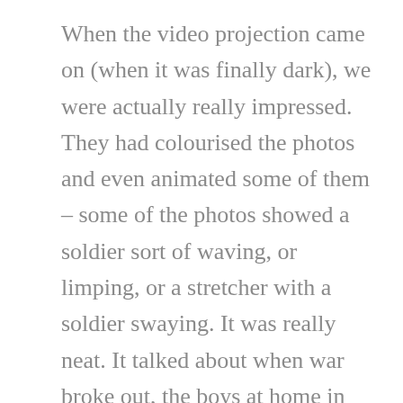When the video projection came on (when it was finally dark), we were actually really impressed. They had colourised the photos and even animated some of them – some of the photos showed a soldier sort of waving, or limping, or a stretcher with a soldier swaying. It was really neat. It talked about when war broke out, the boys at home in Canada signing up to fight, thinking it will be over by Christmas. It talked about the dreariness once they learned the realities of war and trenches. It showed how nursing sisters were some of the bravest heroes of the war – willing to